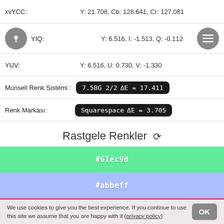xvYCC:   Y: 21.708, Cb: 128.641, Cr: 127.081
YIQ:   Y: 6.516, I: -1.513, Q: -0.112
YUV:   Y: 6.516, U: 0.730, V: -1.330
Munsell Renk Sistemi :   7.5BG 2/2  ΔE = 17.411
Renk Markası:   Squarespace  ΔE = 3.705
Rastgele Renkler
#61ec9d
#abbeff
#ec1224
We use cookies to give you the best experience. If you continue to use this site we assume that you are happy with it (privacy policy)